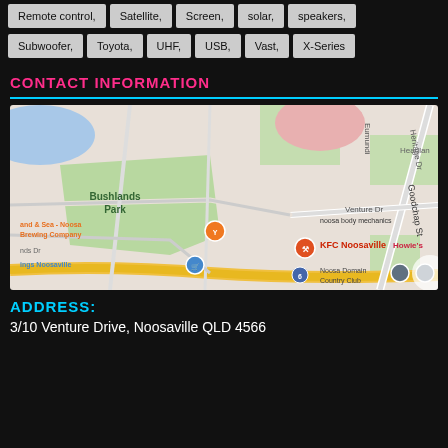Remote control, Satellite, Screen, solar, speakers,
Subwoofer, Toyota, UHF, USB, Vast, X-Series
CONTACT INFORMATION
[Figure (map): Google Maps showing Noosaville QLD area with landmarks including Bushlands Park, KFC Noosaville, Noosa Domain Country Club, Land & Sea Noosa Brewing Company, noosa body mechanics, Howie's, Kings Noosaville. Streets visible include Goodchap St, Heritage Dr, Venture Dr, Eumundi road.]
ADDRESS:
3/10 Venture Drive, Noosaville QLD 4566